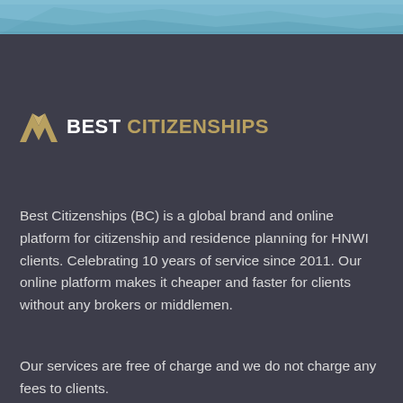[Figure (photo): Partial view of a map or aerial image strip at the top of the page]
[Figure (logo): Best Citizenships logo with a gold chevron/mountain icon, white bold BEST and gold CITIZENSHIPS text]
Best Citizenships (BC) is a global brand and online platform for citizenship and residence planning for HNWI clients. Celebrating 10 years of service since 2011. Our online platform makes it cheaper and faster for clients without any brokers or middlemen.
Our services are free of charge and we do not charge any fees to clients.